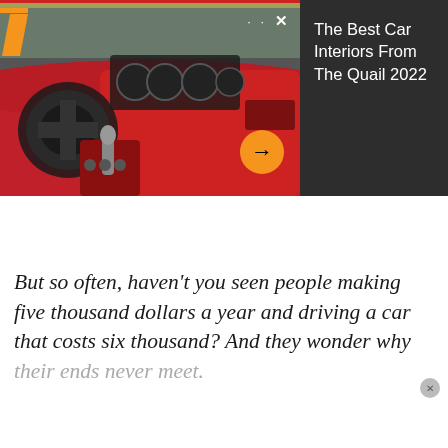[Figure (photo): Car interior photo showing a BMW with red leather seats and dashboard, steering wheel visible on the left, center console with gear shifter, red dashboard panel. Dark background with title text on the right side reading 'The Best Car Interiors From The Quail 2022'. Orange arrow circle button at bottom center of photo.]
The Best Car Interiors From The Quail 2022
But so often, haven't you seen people making five thousand dollars a year and driving a car that costs six thousand? And they wonder why their ends never meet.